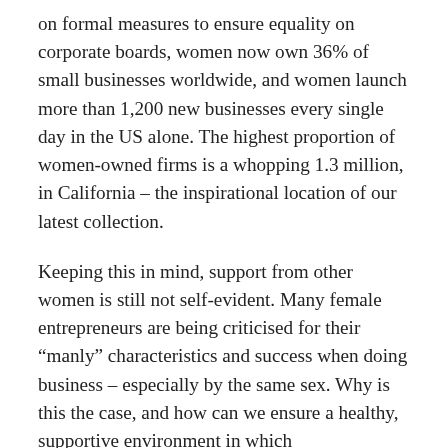on formal measures to ensure equality on corporate boards, women now own 36% of small businesses worldwide, and women launch more than 1,200 new businesses every single day in the US alone. The highest proportion of women-owned firms is a whopping 1.3 million, in California – the inspirational location of our latest collection.
Keeping this in mind, support from other women is still not self-evident. Many female entrepreneurs are being criticised for their “manly” characteristics and success when doing business – especially by the same sex. Why is this the case, and how can we ensure a healthy, supportive environment in which businesswomen don’t feel like enemies in competition with each other, but feel connected, proud, and strong?